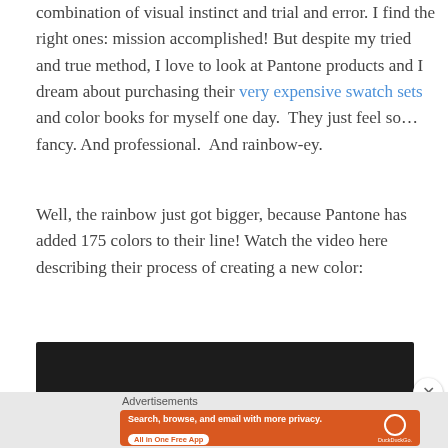combination of visual instinct and trial and error. I find the right ones: mission accomplished! But despite my tried and true method, I love to look at Pantone products and I dream about purchasing their very expensive swatch sets and color books for myself one day.  They just feel so… fancy. And professional.  And rainbow-ey.
Well, the rainbow just got bigger, because Pantone has added 175 colors to their line! Watch the video here describing their process of creating a new color:
[Figure (screenshot): Embedded video player with dark/black background, partially visible]
Advertisements
[Figure (screenshot): DuckDuckGo advertisement banner: orange background, text 'Search, browse, and email with more privacy. All in One Free App', DuckDuckGo logo and phone image on right]